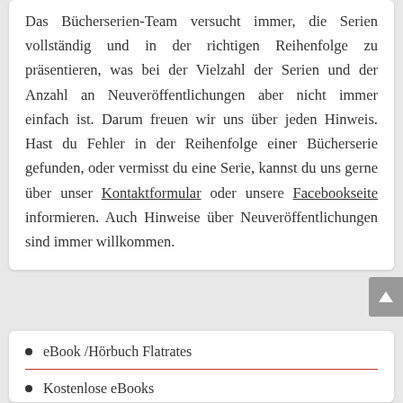Das Bücherserien-Team versucht immer, die Serien vollständig und in der richtigen Reihenfolge zu präsentieren, was bei der Vielzahl der Serien und der Anzahl an Neuveröffentlichungen aber nicht immer einfach ist. Darum freuen wir uns über jeden Hinweis. Hast du Fehler in der Reihenfolge einer Bücherserie gefunden, oder vermisst du eine Serie, kannst du uns gerne über unser Kontaktformular oder unsere Facebookseite informieren. Auch Hinweise über Neuveröffentlichungen sind immer willkommen.
eBook /Hörbuch Flatrates
Kostenlose eBooks